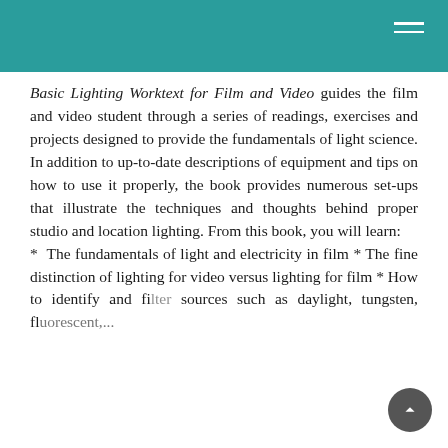Basic Lighting Worktext for Film and Video guides the film and video student through a series of readings, exercises and projects designed to provide the fundamentals of light science. In addition to up-to-date descriptions of equipment and tips on how to use it properly, the book provides numerous set-ups that illustrate the techniques and thoughts behind proper studio and location lighting. From this book, you will learn: * The fundamentals of light and electricity in film * The fine distinction of lighting for video versus lighting for film * How to identify and filter sources such as daylight, tungsten, fluorescent, HMI, and mixed-light